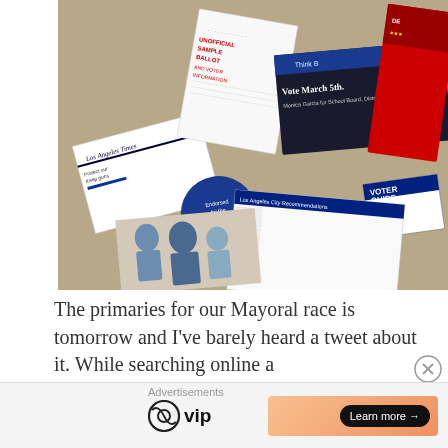[Figure (photo): A pile of political mailers, voter guides, newspapers, and campaign materials scattered on a surface. Visible text includes Los Angeles Times, Vote March 5th, Voter Guide, UNOFFICIAL SAMPLE BALLOT AND VOTER INFORMATION, LA Weekly, Daily News, Protect our Keep guns, Endorsed by the Democratic Party.]
The primaries for our Mayoral race is tomorrow and I've barely heard a tweet about it. While searching online a
Advertisements
[Figure (logo): WordPress VIP logo with a gradient orange Learn more button on the right]